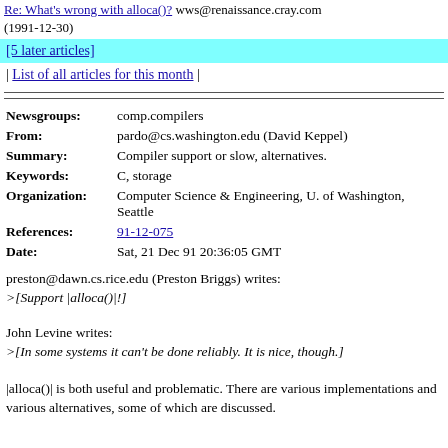Re: What's wrong with alloca()? wws@renaissance.cray.com (1991-12-30)
[5 later articles]
| List of all articles for this month |
| Field | Value |
| --- | --- |
| Newsgroups: | comp.compilers |
| From: | pardo@cs.washington.edu (David Keppel) |
| Summary: | Compiler support or slow, alternatives. |
| Keywords: | C, storage |
| Organization: | Computer Science & Engineering, U. of Washington, Seattle |
| References: | 91-12-075 |
| Date: | Sat, 21 Dec 91 20:36:05 GMT |
preston@dawn.cs.rice.edu (Preston Briggs) writes:
>[Support |alloca()|!]
John Levine writes:
>[In some systems it can't be done reliably. It is nice, though.]
|alloca()| is both useful and problematic. There are various implementations and various alternatives, some of which are discussed.